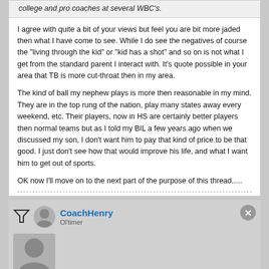college and pro coaches at several WBC's.
I agree with quite a bit of your views but feel you are bit more jaded then what I have come to see. While I do see the negatives of course the "living through the kid" or "kid has a shot" and so on is not what I get from the standard parent I interact with. It's quote possible in your area that TB is more cut-throat then in my area.

The kind of ball my nephew plays is more then reasonable in my mind. They are in the top rung of the nation, play many states away every weekend, etc. Their players, now in HS are certainly better players then normal teams but as I told my BIL a few years ago when we discussed my son, I don't want him to pay that kind of price to be that good. I just don't see how that would improve his life, and what I want him to get out of sports.

OK now I'll move on to the next part of the purpose of this thread.....
CoachHenry
[Figure (infographic): Advertisement banner: Tailored ad management solutions for every publisher, FREESTA logo with learn more button]
15-06-2016 10:33 AM